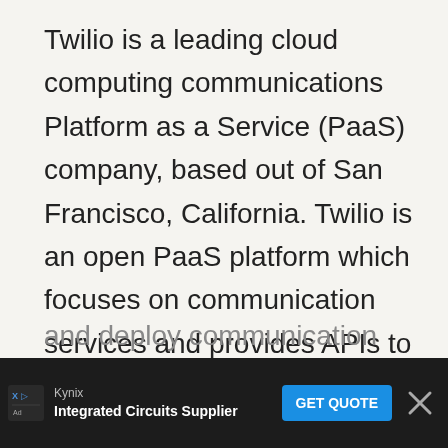Twilio is a leading cloud computing communications Platform as a Service (PaaS) company, based out of San Francisco, California. Twilio is an open PaaS platform which focuses on communication services and provides APIs to programmatically send, receive and track text messages worldwide, while also allowing you to test your SMS-enabled applications within a sandbox environment. Twilio allows its clients to integrate voice, messaging and VoIP capabilities into web, desktop or mobile applications. It packs the complex underlying communication function into APIs which allow software developers and companies to create, host and deploy communication applications. Twilio accounts...
[Figure (other): Advertisement banner at bottom: Kynix Integrated Circuits Supplier with GET QUOTE button and close button]